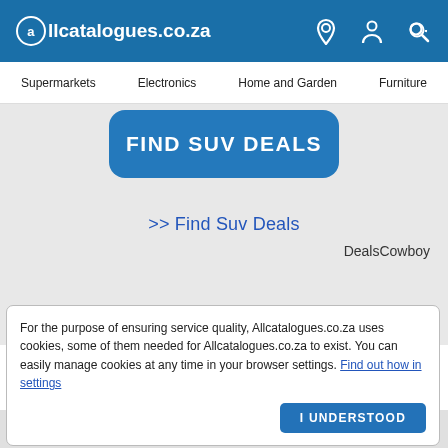Allcatalogues.co.za
Supermarkets  Electronics  Home and Garden  Furniture
[Figure (screenshot): Blue rounded button with white bold text FIND SUV DEALS]
>> Find Suv Deals
DealsCowboy
at Makro
[Figure (infographic): Thumbs up and thumbs down icons each with a count of 0]
[Figure (screenshot): Partial thumbnail strip at bottom of white section]
For the purpose of ensuring service quality, Allcatalogues.co.za uses cookies, some of them needed for Allcatalogues.co.za to exist. You can easily manage cookies at any time in your browser settings. Find out how in settings
I UNDERSTOOD